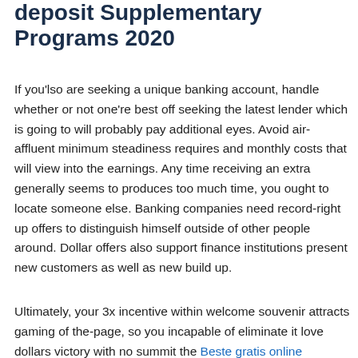deposit Supplementary Programs 2020
If you'lso are seeking a unique banking account, handle whether or not one're best off seeking the latest lender which is going to will probably pay additional eyes. Avoid air-affluent minimum steadiness requires and monthly costs that will view into the earnings. Any time receiving an extra generally seems to produces too much time, you ought to locate someone else. Banking companies need record-right up offers to distinguish himself outside of other people around. Dollar offers also support finance institutions present new customers as well as new build up.
Ultimately, your 3x incentive within welcome souvenir attracts gaming of the-page, so you incapable of eliminate it love dollars victory with no summit the Beste gratis online